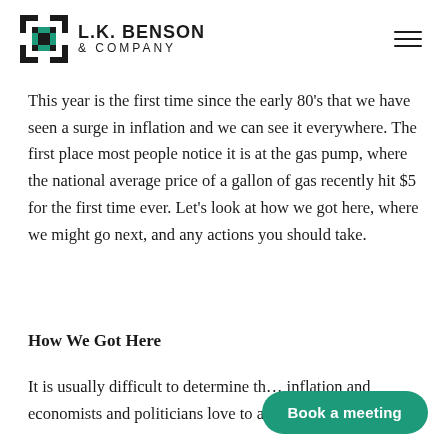L.K. BENSON & COMPANY
This year is the first time since the early 80's that we have seen a surge in inflation and we can see it everywhere. The first place most people notice it is at the gas pump, where the national average price of a gallon of gas recently hit $5 for the first time ever. Let's look at how we got here, where we might go next, and any actions you should take.
How We Got Here
It is usually difficult to determine th… inflation and economists and politicians love to argue